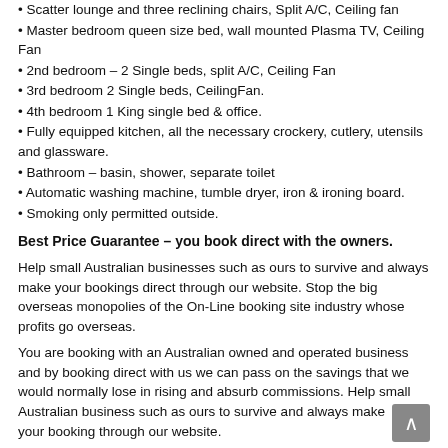• Scatter lounge and three reclining chairs, Split A/C, Ceiling fan
• Master bedroom queen size bed, wall mounted Plasma TV, Ceiling Fan
• 2nd bedroom – 2 Single beds, split A/C, Ceiling Fan
• 3rd bedroom 2 Single beds, CeilingFan.
• 4th bedroom 1 King single bed & office.
• Fully equipped kitchen, all the necessary crockery, cutlery, utensils and glassware.
• Bathroom – basin, shower, separate toilet
• Automatic washing machine, tumble dryer, iron & ironing board.
• Smoking only permitted outside.
Best Price Guarantee – you book direct with the owners.
Help small Australian businesses such as ours to survive and always make your bookings direct through our website. Stop the big overseas monopolies of the On-Line booking site industry whose profits go overseas.
You are booking with an Australian owned and operated business and by booking direct with us we can pass on the savings that we would normally lose in rising and absurb commissions. Help small Australian business such as ours to survive and always make your booking through our website.